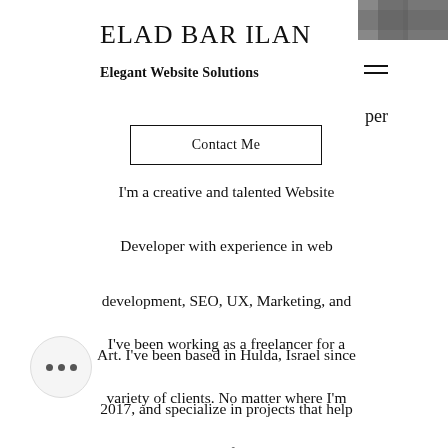[Figure (photo): Partial portrait photo visible at top-right corner of page, showing dark fabric or hair]
ELAD BAR ILAN
Elegant Website Solutions
[Figure (other): Hamburger menu icon (three horizontal lines)]
per
Contact Me
I'm a creative and talented Website Developer with experience in web development, SEO, UX, Marketing, and Art. I've been based in Hulda, Israel since 2017, and specialize in projects that help set my clients apart in a busy marketplace.
I've been working as a freelancer for a variety of clients. No matter where I'm working or the type of project currently in development, I pride myself on exceeding clients' expectations. Contact me to
[Figure (other): Circular chat/more options button with three dots (ellipsis) at bottom-left]